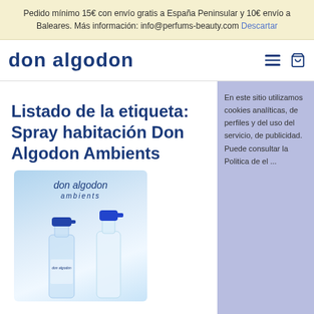Pedido mínimo 15€ con envío gratis a España Peninsular y 10€ envío a Baleares. Más información: info@perfums-beauty.com Descartar
don algodon
Listado de la etiqueta: Spray habitación Don Algodon Ambients
[Figure (photo): Two Don Algodon Ambients spray bottles — one in a product box with blue sky background, one standalone clear bottle with blue spray cap. Text on box reads 'don algodon ambients'.]
En este sitio utilizamos cookies analíticas, de perfiles y del uso del servicio, de publicidad. Puede consultar la Política de el ...